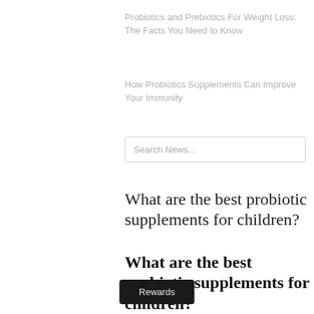Probiotics and Prebiotics For Weight Loss: The Facts You Need to Know
How Probiotics Supplements Can Improve Your Immunity
Search News...
What are the best probiotic supplements for children?
What are the best probiotic supplements for children?
Children lead activity-filled lives. And these activities expose them to many different opportunistic diseases you may notice that